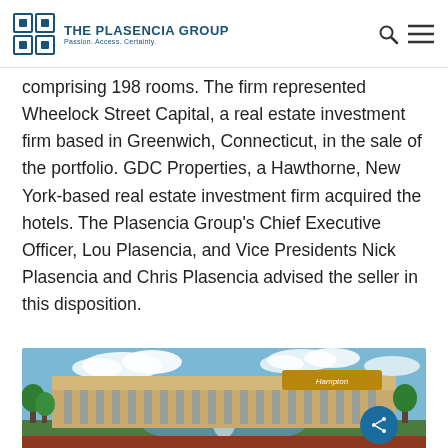The Plasencia Group — Passion. Access. Certainty.
comprising 198 rooms. The firm represented Wheelock Street Capital, a real estate investment firm based in Greenwich, Connecticut, in the sale of the portfolio. GDC Properties, a Hawthorne, New York-based real estate investment firm acquired the hotels. The Plasencia Group's Chief Executive Officer, Lou Plasencia, and Vice Presidents Nick Plasencia and Chris Plasencia advised the seller in this disposition.
[Figure (photo): Exterior photo of a Hampton Inn hotel building with fountain and landscaping in the foreground, blue sky with clouds in the background.]